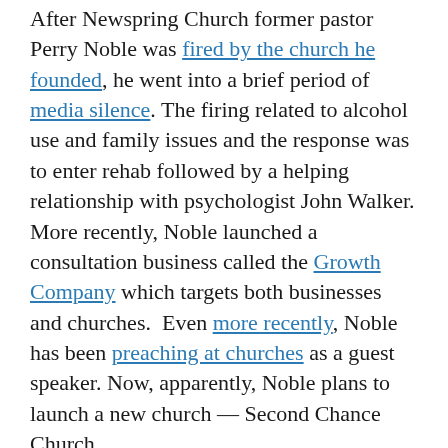After Newspring Church former pastor Perry Noble was fired by the church he founded, he went into a brief period of media silence. The firing related to alcohol use and family issues and the response was to enter rehab followed by a helping relationship with psychologist John Walker. More recently, Noble launched a consultation business called the Growth Company which targets both businesses and churches.  Even more recently, Noble has been preaching at churches as a guest speaker. Now, apparently, Noble plans to launch a new church — Second Chance Church.
According to a filing with the South Carolina Secretary of State on 7/14/17, Perry Noble incorporated the Second Chance Church as a